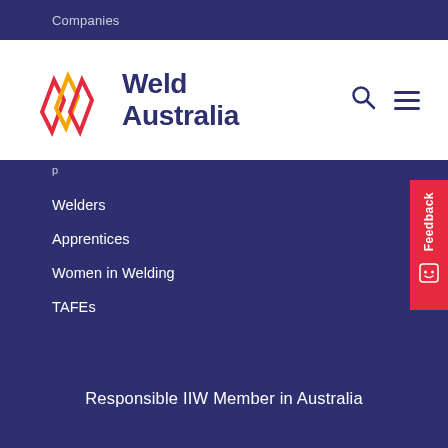Companies
[Figure (logo): Weld Australia logo with red/yellow/pink geometric W shape and dark navy text 'Weld Australia']
Welders
Apprentices
Women in Welding
TAFEs
Responsible IIW Member in Australia